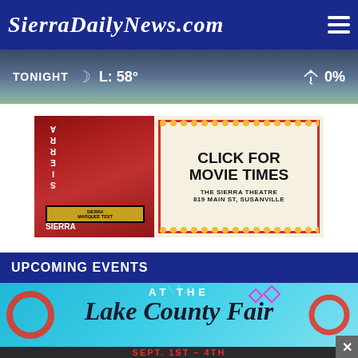SierraDailyNews.com
[Figure (screenshot): Weather strip showing TONIGHT, moon icon, L: 58°, umbrella icon, 0%]
[Figure (photo): Advertisement banner for Sierra Theatre showing movie times. Text: CLICK FOR MOVIE TIMES / THE SIERRA THEATRE / 819 MAIN ST, SUSANVILLE]
UPCOMING EVENTS
[Figure (illustration): Lake County Fair promotional banner with text AT THE and Lake County Fair in script lettering]
[Figure (illustration): Sept. 1st - 4th dates banner for Lake County Fair, with close button overlay]